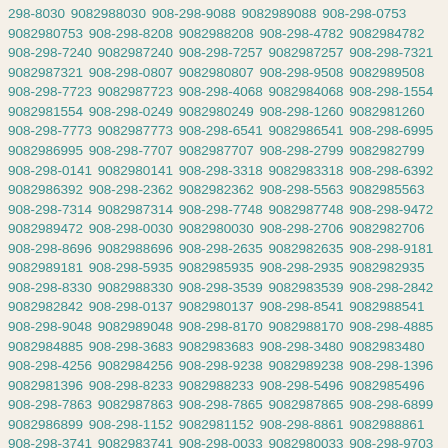298-8030 9082988030 908-298-9088 9082989088 908-298-0753 9082980753 908-298-8208 9082988208 908-298-4782 9082984782 908-298-7240 9082987240 908-298-7257 9082987257 908-298-7321 9082987321 908-298-0807 9082980807 908-298-9508 9082989508 908-298-7723 9082987723 908-298-4068 9082984068 908-298-1554 9082981554 908-298-0249 9082980249 908-298-1260 9082981260 908-298-7773 9082987773 908-298-6541 9082986541 908-298-6995 9082986995 908-298-7707 9082987707 908-298-2799 9082982799 908-298-0141 9082980141 908-298-3318 9082983318 908-298-6392 9082986392 908-298-2362 9082982362 908-298-5563 9082985563 908-298-7314 9082987314 908-298-7748 9082987748 908-298-9472 9082989472 908-298-0030 9082980030 908-298-2706 9082982706 908-298-8696 9082988696 908-298-2635 9082982635 908-298-9181 9082989181 908-298-5935 9082985935 908-298-2935 9082982935 908-298-8330 9082988330 908-298-3539 9082983539 908-298-2842 9082982842 908-298-0137 9082980137 908-298-8541 9082988541 908-298-9048 9082989048 908-298-8170 9082988170 908-298-4885 9082984885 908-298-3683 9082983683 908-298-3480 9082983480 908-298-4256 9082984256 908-298-9238 9082989238 908-298-1396 9082981396 908-298-8233 9082988233 908-298-5496 9082985496 908-298-7863 9082987863 908-298-7865 9082987865 908-298-6899 9082986899 908-298-1152 9082981152 908-298-8861 9082988861 908-298-3741 9082983741 908-298-0033 9082980033 908-298-9703 9082989703 908-298-9569 9082989569 908-298-0995 9082980995 908-298-3752 9082983752 908-298-0181 9082980181 908-298-8115 9082988115 908-298-9366 9082989366 908-298-3349 9082983349 908-